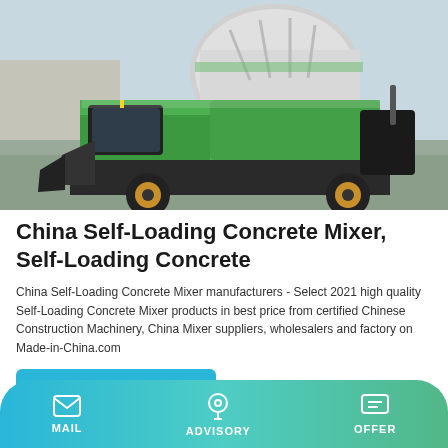[Figure (photo): Green and black self-loading concrete mixer truck on a gravel surface outdoors]
China Self-Loading Concrete Mixer, Self-Loading Concrete
China Self-Loading Concrete Mixer manufacturers - Select 2021 high quality Self-Loading Concrete Mixer products in best price from certified Chinese Construction Machinery, China Mixer suppliers, wholesalers and factory on Made-in-China.com
Learn More
MAIL   ADVISORY   OFFER